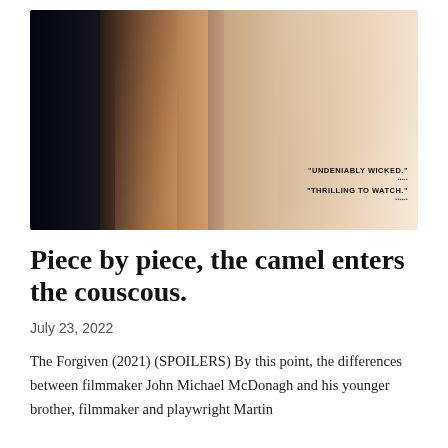[Figure (photo): Movie poster for The Forgiven (2021) showing two faces: an older man on the left side against a dark background, and a red-haired woman on the right against a lighter background. Text on the poster reads: 'UNDENIABLY WICKED.' and 'THRILLING TO WATCH.']
Piece by piece, the camel enters the couscous.
July 23, 2022
The Forgiven (2021) (SPOILERS) By this point, the differences between filmmaker John Michael McDonagh and his younger brother, filmmaker and playwright Martin